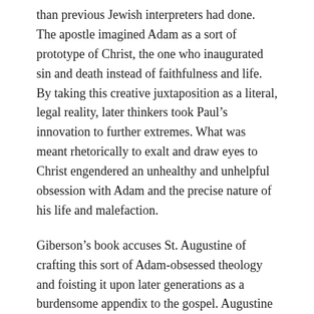than previous Jewish interpreters had done. The apostle imagined Adam as a sort of prototype of Christ, the one who inaugurated sin and death instead of faithfulness and life. By taking this creative juxtaposition as a literal, legal reality, later thinkers took Paul's innovation to further extremes. What was meant rhetorically to exalt and draw eyes to Christ engendered an unhealthy and unhelpful obsession with Adam and the precise nature of his life and malefaction.
Giberson's book accuses St. Augustine of crafting this sort of Adam-obsessed theology and foisting it upon later generations as a burdensome appendix to the gospel. Augustine took Paul's Adam analogy off-road, galvanizing a doctrine of “original sin” that made the first man more than a type or an example. It made him a key player, and belief in him (and his literal, historical existence) became a prerequisite of divine salvation. In a phrase that echoes throughout the history of Adam interpretation, “no historical Adam, no gospel.” Suddenly the “good news” of Jesus came